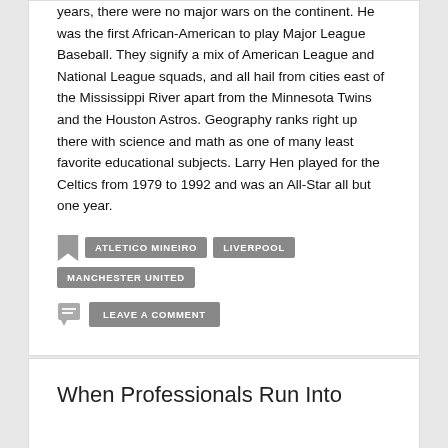years, there were no major wars on the continent. He was the first African-American to play Major League Baseball. They signify a mix of American League and National League squads, and all hail from cities east of the Mississippi River apart from the Minnesota Twins and the Houston Astros. Geography ranks right up there with science and math as one of many least favorite educational subjects. Larry Hen played for the Celtics from 1979 to 1992 and was an All-Star all but one year.
ATLETICO MINEIRO
LIVERPOOL
MANCHESTER UNITED
LEAVE A COMMENT
When Professionals Run Into